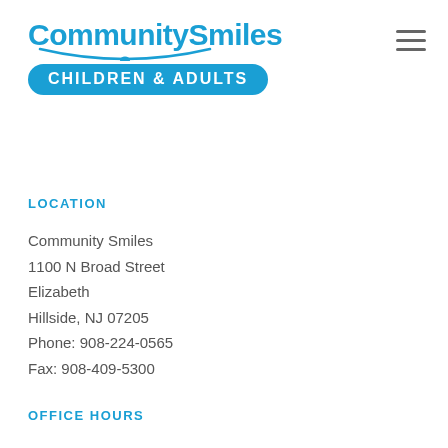[Figure (logo): CommunitySmiles Children & Adults logo with blue text and badge]
LOCATION
Community Smiles
1100 N Broad Street
Elizabeth
Hillside, NJ 07205
Phone: 908-224-0565
Fax: 908-409-5300
OFFICE HOURS